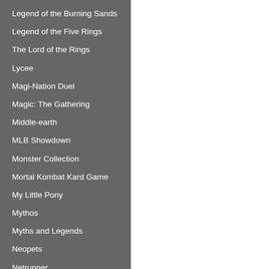Legend of the Burning Sands
Legend of the Five Rings
The Lord of the Rings
Lycee
Magi-Nation Duel
Magic: The Gathering
Middle-earth
MLB Showdown
Monster Collection
Mortal Kombat Kard Game
My Little Pony
Mythos
Myths and Legends
Neopets
Netrunner
NFL Showdown
[Figure (other): Halftone dot pattern decorative element on white background, fading from dense dots on right side to sparse/absent dots on left side]